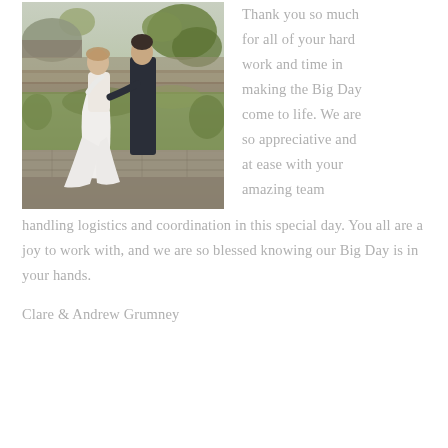[Figure (photo): Wedding photo of a bride in white dress and groom in dark suit standing facing each other outdoors on stone steps surrounded by greenery and a dome-shaped structure in the background.]
Thank you so much for all of your hard work and time in making the Big Day come to life. We are so appreciative and at ease with your amazing team handling logistics and coordination in this special day. You all are a joy to work with, and we are so blessed knowing our Big Day is in your hands.
Clare & Andrew Grumney